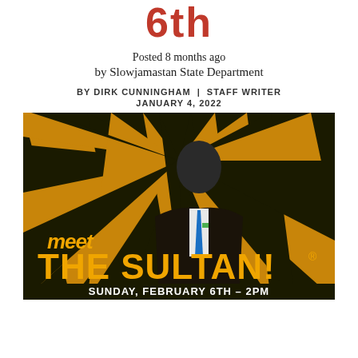6th
Posted 8 months ago
by Slowjamastan State Department
BY DIRK CUNNINGHAM | STAFF WRITER
JANUARY 4, 2022
[Figure (illustration): Promotional poster with orange and black sunburst background showing a man in a suit with blue tie. Text reads 'meet THE SULTAN!' and 'SUNDAY, FEBRUARY 6TH – 2PM']